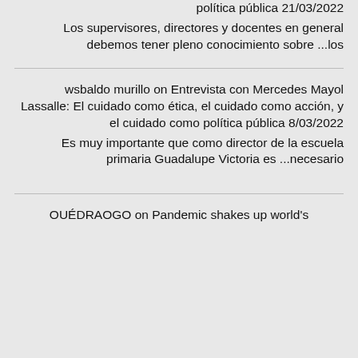política pública 21/03/2022
Los supervisores, directores y docentes en general debemos tener pleno conocimiento sobre ...los
wsbaldo murillo on Entrevista con Mercedes Mayol Lassalle: El cuidado como ética, el cuidado como acción, y el cuidado como política pública 8/03/2022
Es muy importante que como director de la escuela primaria Guadalupe Victoria es ...necesario
OUÉDRAOGO on Pandemic shakes up world's